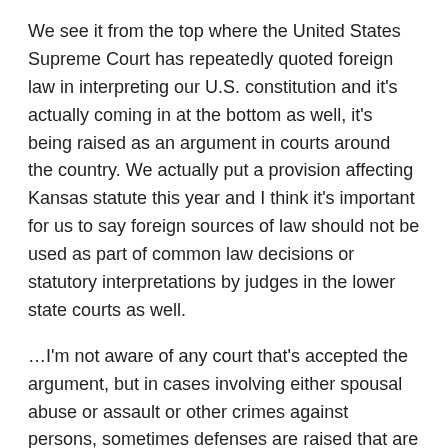We see it from the top where the United States Supreme Court has repeatedly quoted foreign law in interpreting our U.S. constitution and it's actually coming in at the bottom as well, it's being raised as an argument in courts around the country. We actually put a provision affecting Kansas statute this year and I think it's important for us to say foreign sources of law should not be used as part of common law decisions or statutory interpretations by judges in the lower state courts as well.
…I'm not aware of any court that's accepted the argument, but in cases involving either spousal abuse or assault or other crimes against persons, sometimes defenses are raised that are based in Sharia law.
Despite the predictable sneering and distressing ignorance which frames these reports by two agitprop